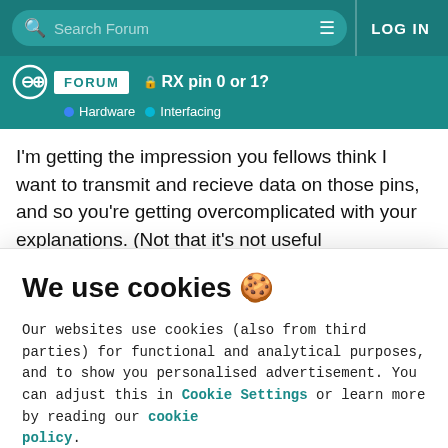Search Forum | LOG IN
🔒 RX pin 0 or 1? | Hardware · Interfacing
I'm getting the impression you fellows think I want to transmit and recieve data on those pins, and so you're getting overcomplicated with your explanations. (Not that it's not useful information... I'd have assumed RX was always an
We use cookies 🍪
Our websites use cookies (also from third parties) for functional and analytical purposes, and to show you personalised advertisement. You can adjust this in Cookie Settings or learn more by reading our cookie policy.
ONLY REQUIRED | ACCEPT ALL